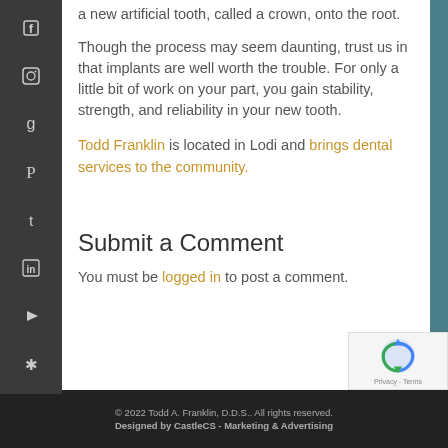a new artificial tooth, called a crown, onto the root.
Though the process may seem daunting, trust us in that implants are well worth the trouble. For only a little bit of work on your part, you gain stability, strength, and reliability in your new tooth.
Todd Franklin is located in Lodi and brings dental services to the community.
Submit a Comment
You must be logged in to post a comment.
© 2022 Todd A. Franklin, D.D.S.. All rights reserved. Designed by CastleCS - Marketing & Advertising